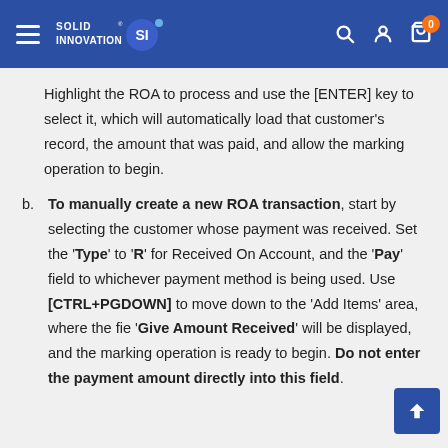Solid Innovation — navigation header with logo, search, account, and cart icons
Highlight the ROA to process and use the [ENTER] key to select it, which will automatically load that customer's record, the amount that was paid, and allow the marking operation to begin.
b. To manually create a new ROA transaction, start by selecting the customer whose payment was received. Set the 'Type' to 'R' for Received On Account, and the 'Pay' field to whichever payment method is being used. Use [CTRL+PGDOWN] to move down to the 'Add Items' area, where the field 'Give Amount Received' will be displayed, and the marking operation is ready to begin. Do not enter the payment amount directly into this field.